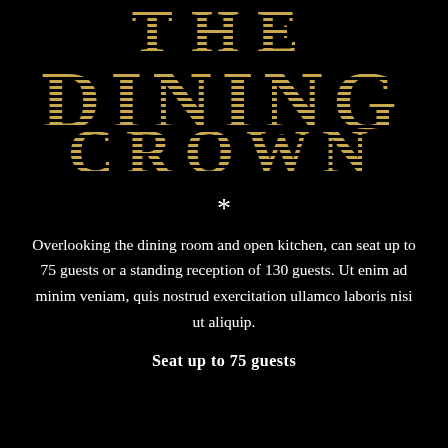THE DINING CROWN
*
Overlooking the dining room and open kitchen, can seat up to 75 guests or a standing reception of 130 guests. Ut enim ad minim veniam, quis nostrud exercitation ullamco laboris nisi ut aliquip.
Seat up to 75 guests